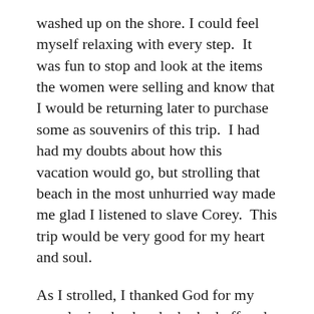washed up on the shore. I could feel myself relaxing with every step.  It was fun to stop and look at the items the women were selling and know that I would be returning later to purchase some as souvenirs of this trip.  I had had my doubts about how this vacation would go, but strolling that beach in the most unhurried way made me glad I listened to slave Corey.  This trip would be very good for my heart and soul.
As I strolled, I thanked God for my very loving husband who had offered himself to me many years ago as my servant slave to care for me, to love me, to serve me, and to be my life-partner. I also thanked Him that he made us male and female and gave us parts that could be sexually aroused and stimulated and give intense pleasure—often, if not daily, or even multiple times a day. That last thought made me smile, and under my breath, I said, “Thank you, God, for orgasms.” Then with a chuckle, I added, “and thank you for big dicks!”